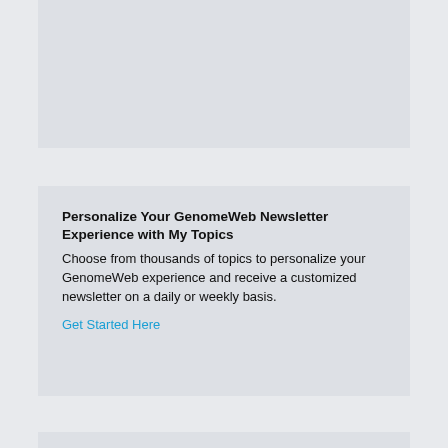[Figure (other): Gray placeholder card at top of page]
Personalize Your GenomeWeb Newsletter Experience with My Topics
Choose from thousands of topics to personalize your GenomeWeb experience and receive a customized newsletter on a daily or weekly basis.
Get Started Here
A New, Optimized Microarray Solution Streamlines the Cytogenomic Analysis Workflow Across Multiple Applications
In this webinar, Mo Serrano will discuss how